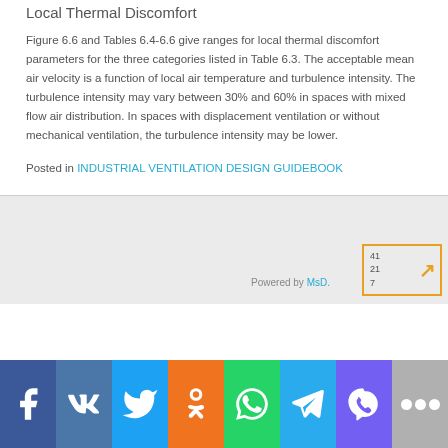Local Thermal Discomfort
Figure 6.6 and Tables 6.4-6.6 give ranges for local thermal discomfort parameters for the three categories listed in Table 6.3. The acceptable mean air velocity is a function of local air temperature and turbulence intensity. The turbulence intensity may vary between 30% and 60% in spaces with mixed flow air distribution. In spaces with displacement ventilation or without mechanical ventilation, the turbulence intensity may be lower.
Posted in INDUSTRIAL VENTILATION DESIGN GUIDEBOOK
Powered by MsD.